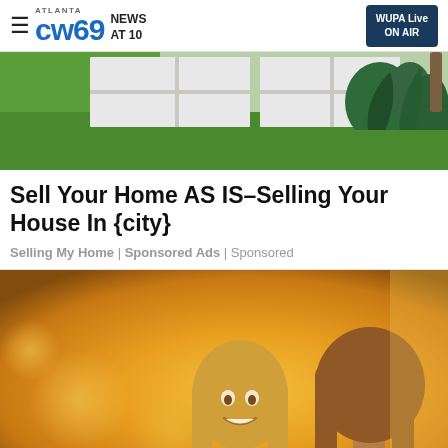ATLANTA CW69 NEWS AT 10 | WUPA Live ON AIR
[Figure (photo): Hero image showing a modern exterior walkway with large square concrete pavers, green grass, and agave plants in the background]
Sell Your Home AS IS–Selling Your House In {city}
Selling My Home | Sponsored Ads | Sponsored
[Figure (photo): Two young women smiling and talking outdoors in warm golden sunlight, one holding a smartphone]